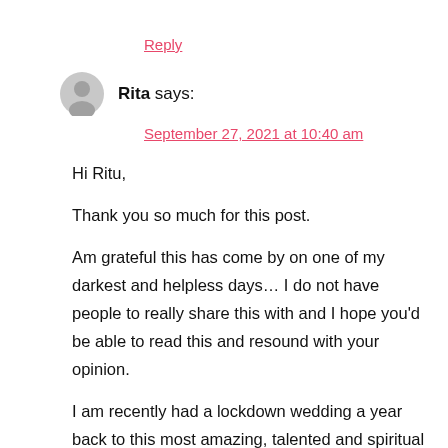Reply
Rita says:
September 27, 2021 at 10:40 am
Hi Ritu,

Thank you so much for this post.

Am grateful this has come by on one of my darkest and helpless days... I do not have people to really share this with and I hope you'd be able to read this and resound with your opinion.

I am recently had a lockdown wedding a year back to this most amazing, talented and spiritual man I met 3 years back.

I've never dated and he's had a lot of women before me. But we met it was a passionate whirlwind and